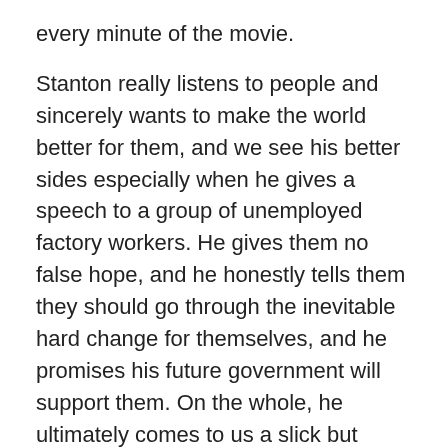every minute of the movie.
Stanton really listens to people and sincerely wants to make the world better for them, and we see his better sides especially when he gives a speech to a group of unemployed factory workers. He gives them no false hope, and he honestly tells them they should go through the inevitable hard change for themselves, and he promises his future government will support them. On the whole, he ultimately comes to us a slick but charming politician with real ideas who is far more reliable than a Mitt Romney.
Travolta is surrounded by performers providing different colors to the story. While interestingly not imitating Hilary Clinton in her sympathetic performance, Thompson plays Mrs. Stanton as a strong-willed woman with equal political